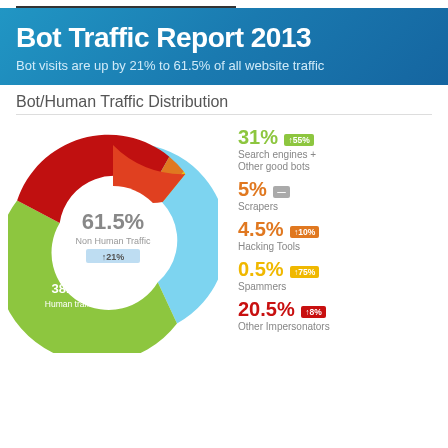Bot Traffic Report 2013
Bot visits are up by 21% to 61.5% of all website traffic
Bot/Human Traffic Distribution
[Figure (donut-chart): Donut chart showing 61.5% Non Human Traffic (up 21%) and 38.5% Human traffic. Non-human breakdown: 31% Search engines + Other good bots (up 55%), 5% Scrapers (flat), 4.5% Hacking Tools (up 10%), 0.5% Spammers (up 75%), 20.5% Other Impersonators (up 8%).]